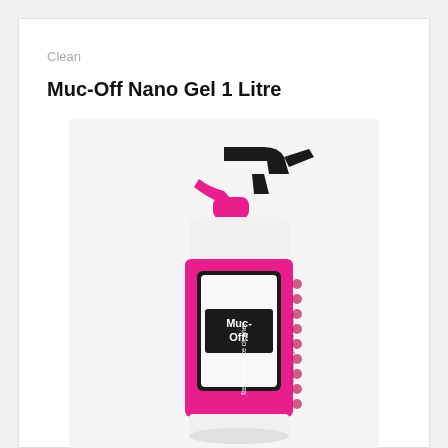Clean
Muc-Off Nano Gel 1 Litre
[Figure (photo): Muc-Off Nano Gel 1 Litre pink spray bottle with black trigger sprayer, featuring the Muc-Off logo and 'fast action bike cleaner' text on the label]